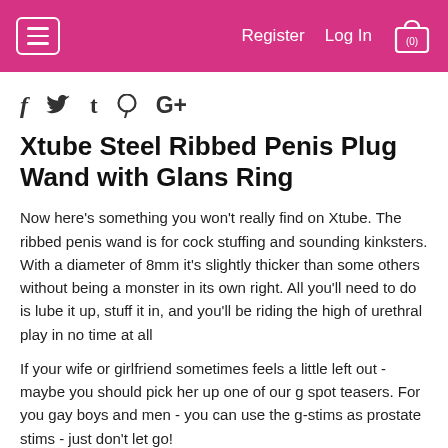Register  Log In  (0)
[Figure (other): Social media share icons: Facebook (f), Twitter (bird), Tumblr (t), Pinterest (pin), Google+ (G+)]
Xtube Steel Ribbed Penis Plug Wand with Glans Ring
Now here's something you won't really find on Xtube. The ribbed penis wand is for cock stuffing and sounding kinksters. With a diameter of 8mm it's slightly thicker than some others without being a monster in its own right. All you'll need to do is lube it up, stuff it in, and you'll be riding the high of urethral play in no time at all
If your wife or girlfriend sometimes feels a little left out - maybe you should pick her up one of our g spot teasers. For you gay boys and men - you can use the g-stims as prostate stims - just don't let go!
approximate measurements